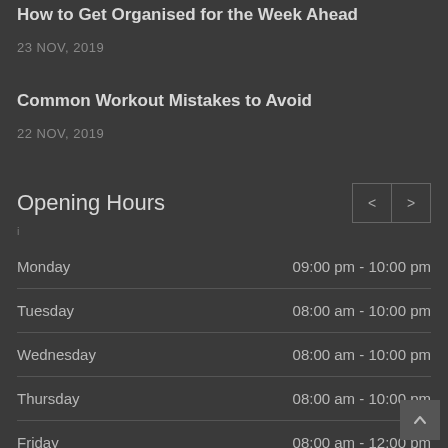How to Get Organised for the Week Ahead
23 NOV, 2019
Common Workout Mistakes to Avoid
22 NOV, 2019
Opening Hours
| Day | Hours |
| --- | --- |
| Monday | 09:00 pm - 10:00 pm |
| Tuesday | 08:00 am - 10:00 pm |
| Wednesday | 08:00 am - 10:00 pm |
| Thursday | 08:00 am - 10:00 pm |
| Friday | 08:00 am - 12:00 pm |